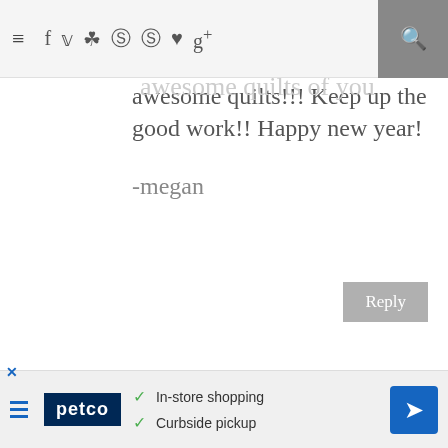Navigation bar with menu, social icons, and search
been so fun hearing about and awesome quilts of you awesome quilts!!! Keep up the good work!! Happy new year!
-megan
Reply
SUSANKS
December 31, 2011 at 1:54 PM
I also found you on pinterest...very nice tutorial! I've made several rag quilts with squares but never thought
Ad: Petco — In-store shopping, Curbside pickup